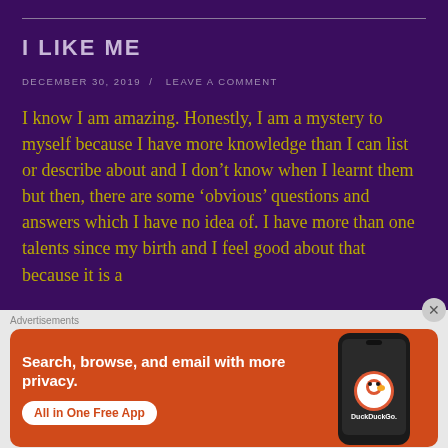I LIKE ME
DECEMBER 30, 2019  /  LEAVE A COMMENT
I know I am amazing. Honestly, I am a mystery to myself because I have more knowledge than I can list or describe about and I don't know when I learnt them but then, there are some 'obvious' questions and answers which I have no idea of. I have more than one talents since my birth and I feel good about that because it is a
Advertisements
[Figure (screenshot): DuckDuckGo advertisement banner showing 'Search, browse, and email with more privacy. All in One Free App' with a phone image on an orange background.]